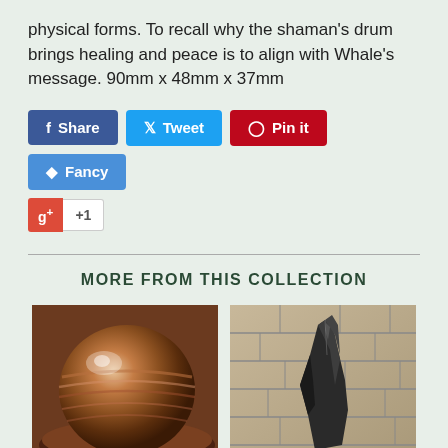physical forms. To recall why the shaman's drum brings healing and peace is to align with Whale's message. 90mm x 48mm x 37mm
[Figure (screenshot): Social sharing buttons: Share (Facebook, blue), Tweet (Twitter, light blue), Pin it (Pinterest, red), Fancy (blue), and Google+1 button]
MORE FROM THIS COLLECTION
[Figure (photo): A banded stone sphere (possibly sandstone or jasper) resting in a wooden bowl, showing warm reddish-brown horizontal banding patterns]
[Figure (photo): A dark grey/black rough mineral or crystal specimen (possibly tourmaline or meteorite) standing upright against a stone brick wall background]